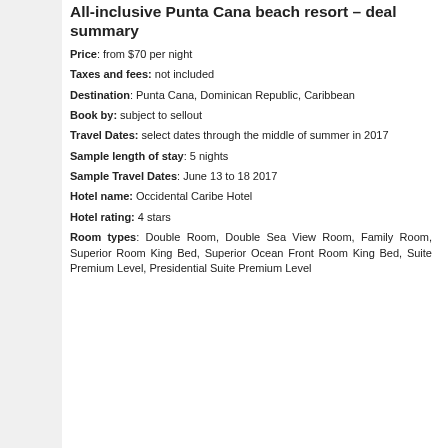All-inclusive Punta Cana beach resort – deal summary
Price: from $70 per night
Taxes and fees: not included
Destination: Punta Cana, Dominican Republic, Caribbean
Book by: subject to sellout
Travel Dates: select dates through the middle of summer in 2017
Sample length of stay: 5 nights
Sample Travel Dates: June 13 to 18 2017
Hotel name: Occidental Caribe Hotel
Hotel rating: 4 stars
Room types: Double Room, Double Sea View Room, Family Room, Superior Room King Bed, Superior Ocean Front Room King Bed, Suite Premium Level, Presidential Suite Premium Level